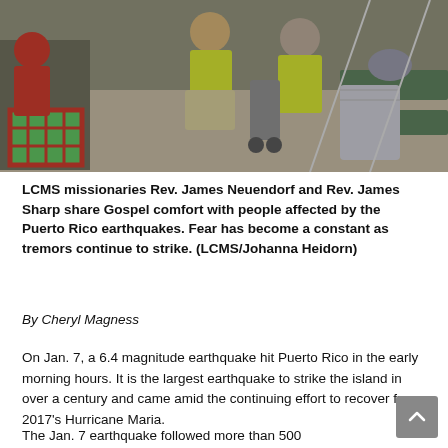[Figure (photo): LCMS missionaries in yellow vests sitting and kneeling among displaced people resting on cots inside a shelter, with bags and belongings visible around them.]
LCMS missionaries Rev. James Neuendorf and Rev. James Sharp share Gospel comfort with people affected by the Puerto Rico earthquakes. Fear has become a constant as tremors continue to strike. (LCMS/Johanna Heidorn)
By Cheryl Magness
On Jan. 7, a 6.4 magnitude earthquake hit Puerto Rico in the early morning hours. It is the largest earthquake to strike the island in over a century and came amid the continuing effort to recover from 2017's Hurricane Maria.
The Jan. 7 earthquake followed more than 500